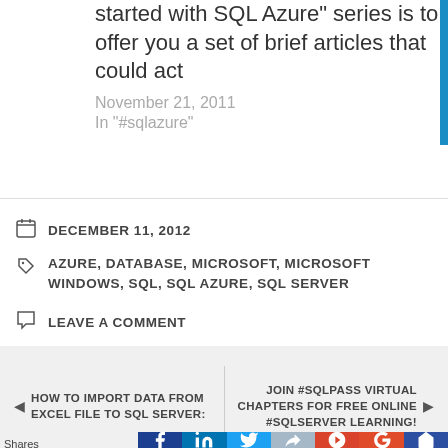started with SQL Azure" series is to offer you a set of brief articles that could act
November 21, 2011
In "#sqlazure"
DECEMBER 11, 2012
AZURE, DATABASE, MICROSOFT, MICROSOFT WINDOWS, SQL, SQL AZURE, SQL SERVER
LEAVE A COMMENT
HOW TO IMPORT DATA FROM EXCEL FILE TO SQL SERVER:
JOIN #SQLPASS VIRTUAL CHAPTERS FOR FREE ONLINE #SQLSERVER LEARNING!
Shares